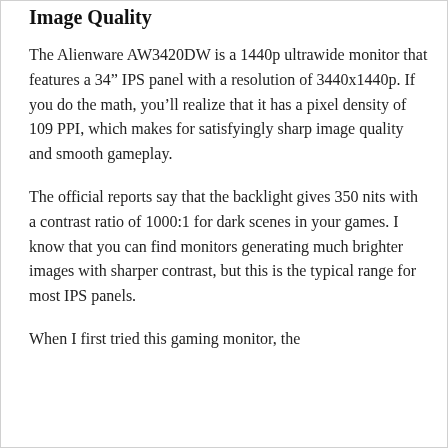Image Quality
The Alienware AW3420DW is a 1440p ultrawide monitor that features a 34” IPS panel with a resolution of 3440x1440p. If you do the math, you’ll realize that it has a pixel density of 109 PPI, which makes for satisfyingly sharp image quality and smooth gameplay.
The official reports say that the backlight gives 350 nits with a contrast ratio of 1000:1 for dark scenes in your games. I know that you can find monitors generating much brighter images with sharper contrast, but this is the typical range for most IPS panels.
When I first tried this gaming monitor, the